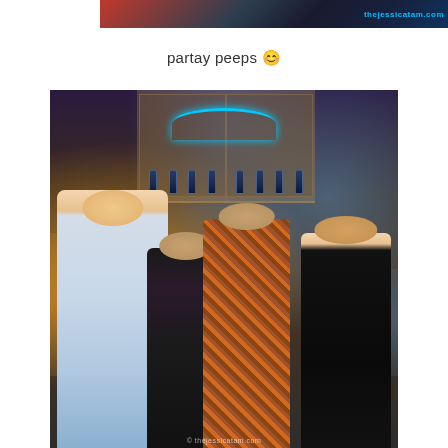[Figure (photo): Top cropped photo showing people at a party/event with a watermark reading thejessicatam.com in blue text on right side]
partay peeps 😊
[Figure (photo): Group photo of four people posing at a party/bar venue: a tall bald man in white shirt and blue tie on left, a woman with red hair in the middle-left, a man in plaid shirt middle-right, and a woman in black on far right. Bar shelves with bottles and blue neon lighting visible in background.]